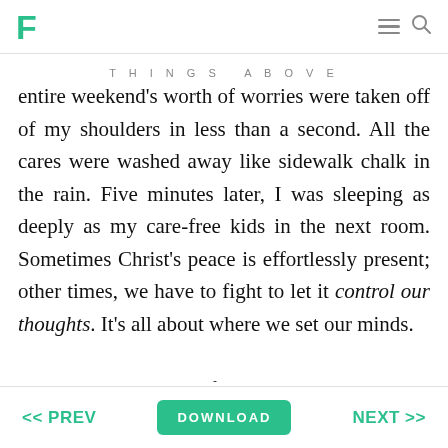F [logo] [hamburger menu] [search icon]
THINGS ABOVE
entire weekend's worth of worries were taken off of my shoulders in less than a second. All the cares were washed away like sidewalk chalk in the rain. Five minutes later, I was sleeping as deeply as my care-free kids in the next room. Sometimes Christ's peace is effortlessly present; other times, we have to fight to let it control our thoughts. It's all about where we set our minds.
    How do we forgive, love, and live together in peace? How do we ensure there are no divisions among us? We let Christ's peace control th[video button] we think about every
<< PREV   DOWNLOAD   NEXT >>